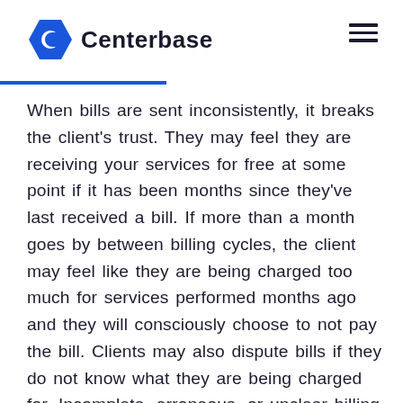Centerbase
When bills are sent inconsistently, it breaks the client's trust. They may feel they are receiving your services for free at some point if it has been months since they've last received a bill. If more than a month goes by between billing cycles, the client may feel like they are being charged too much for services performed months ago and they will consciously choose to not pay the bill. Clients may also dispute bills if they do not know what they are being charged for. Incomplete, erroneous, or unclear billing descriptions are common reasons you may not get paid. If your clients don't understand what they are being charged for and if they don't believe you completed the stated services, they are simply not